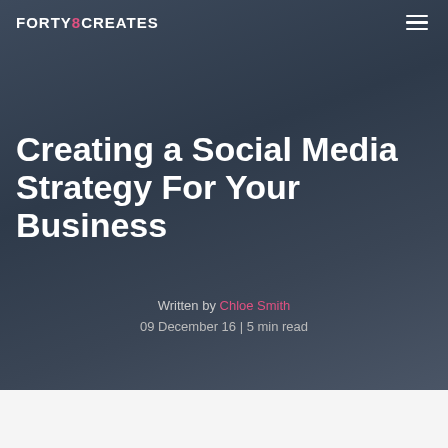FORTY8CREATES
Creating a Social Media Strategy For Your Business
Written by Chloe Smith
09 December 16 | 5 min read